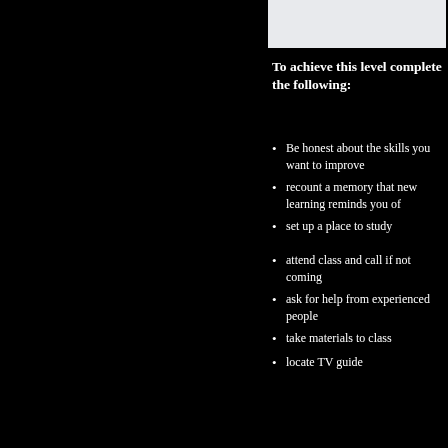[Figure (photo): Light grey/white rectangular image box at top right of page]
To achieve this level complete the following:
Be honest about the skills you want to improve
recount a memory that new learning reminds you of
set up a place to study
attend class and call if not coming
ask for help from experienced people
take materials to class
locate TV guide